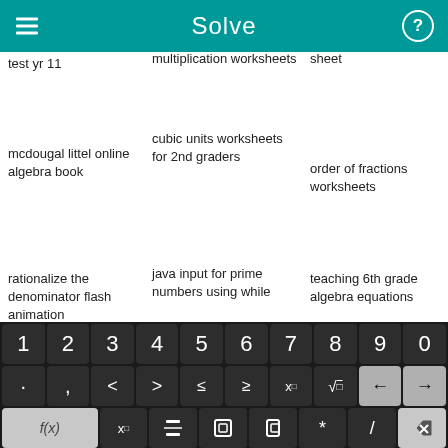Solve
test yr 11
multiplication worksheets
sheet
mcdougal littel online algebra book
cubic units worksheets for 2nd graders
order of fractions worksheets
rationalize the denominator flash animation
java input for prime numbers using while
teaching 6th grade algebra equations
[Figure (screenshot): Calculator keyboard with numeric keys 1-9,0 on top row; symbols . , < > ≤ ≥ x□ √□ ← → on second row; f(x) x□ fraction absolute-value parenthesis * / backspace on third row; abc ↺ x y = + - Solve! on bottom row]